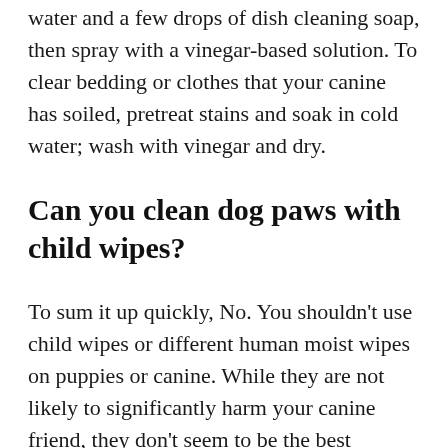water and a few drops of dish cleaning soap, then spray with a vinegar-based solution. To clear bedding or clothes that your canine has soiled, pretreat stains and soak in cold water; wash with vinegar and dry.
Can you clean dog paws with child wipes?
To sum it up quickly, No. You shouldn't use child wipes or different human moist wipes on puppies or canine. While they are not likely to significantly harm your canine friend, they don't seem to be the best solution for day-to-